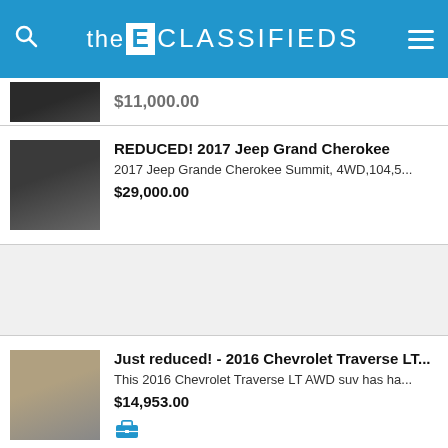the E CLASSIFIEDS
$11,000.00 (partial, top listing)
REDUCED! 2017 Jeep Grand Cherokee
2017 Jeep Grande Cherokee Summit, 4WD,104,5...
$29,000.00
Just reduced! - 2016 Chevrolet Traverse LT...
This 2016 Chevrolet Traverse LT AWD suv has ha...
$14,953.00